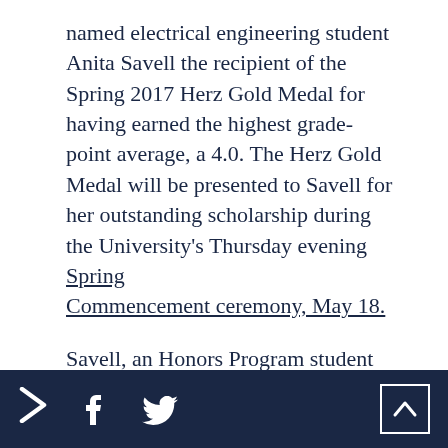named electrical engineering student Anita Savell the recipient of the Spring 2017 Herz Gold Medal for having earned the highest grade-point average, a 4.0. The Herz Gold Medal will be presented to Savell for her outstanding scholarship during the University's Thursday evening Spring Commencement ceremony, May 18.
Savell, an Honors Program student with a biomedical engineering emphasis and minors in biology and statistics, was named an Honorable Mention for the
> f Twitter up-arrow